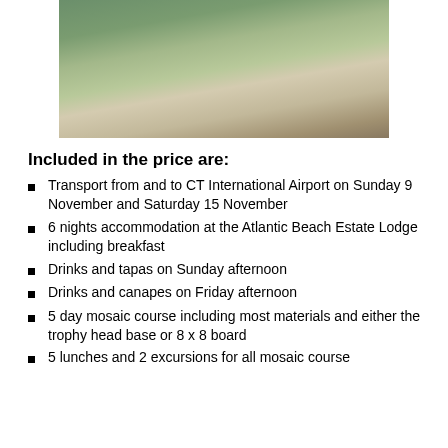[Figure (photo): Outdoor market scene with goods displayed on stalls, colourful baskets and containers in the foreground, trees in the background]
Included in the price are:
Transport from and to CT International Airport on Sunday 9 November and Saturday 15 November
6 nights accommodation at the Atlantic Beach Estate Lodge including breakfast
Drinks and tapas on Sunday afternoon
Drinks and canapes on Friday afternoon
5 day mosaic course including most materials and either the trophy head base or 8 x 8 board
5 lunches and 2 excursions for all mosaic course